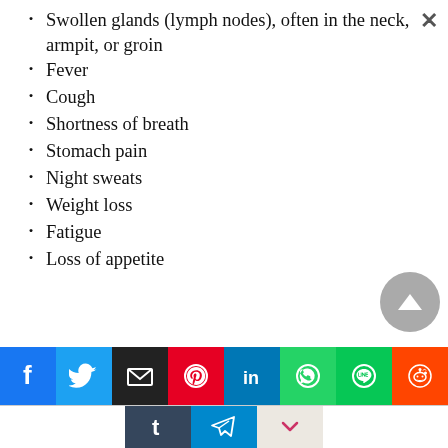Swollen glands (lymph nodes), often in the neck, armpit, or groin
Fever
Cough
Shortness of breath
Stomach pain
Night sweats
Weight loss
Fatigue
Loss of appetite